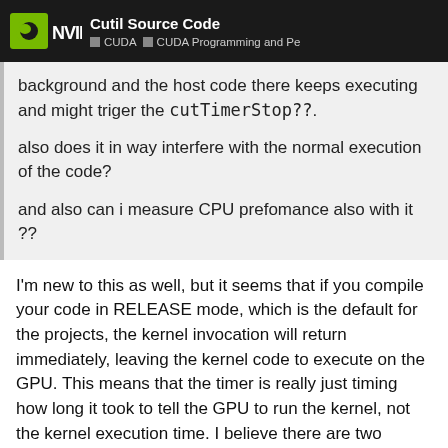Cutil Source Code | CUDA | CUDA Programming and Pe
background and the host code there keeps executing and might triger the cutTimerStop??.

also does it in way interfere with the normal execution of the code?

and also can i measure CPU prefomance also with it ??
I'm new to this as well, but it seems that if you compile your code in RELEASE mode, which is the default for the projects, the kernel invocation will return immediately, leaving the kernel code to execute on the GPU. This means that the timer is really just timing how long it took to tell the GPU to run the kernel, not the kernel execution time. I believe there are two solutions to this problem.
First, you could call cudaThreadSynchronize() before calling cutStopTimer(). I've tried this, ar